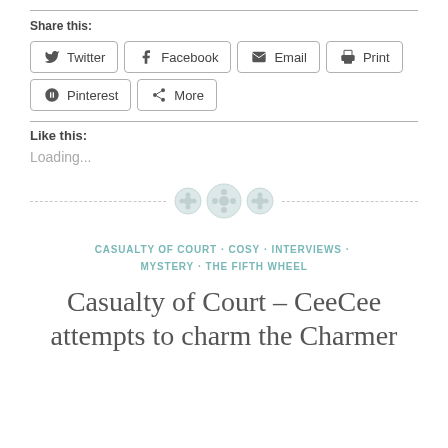Share this:
Twitter
Facebook
Email
Print
Pinterest
More
Like this:
Loading...
[Figure (illustration): Decorative divider with three button/circle icons on a dashed line]
CASUALTY OF COURT · COSY · INTERVIEWS · MYSTERY · THE FIFTH WHEEL
Casualty of Court – CeeCee attempts to charm the Charmer